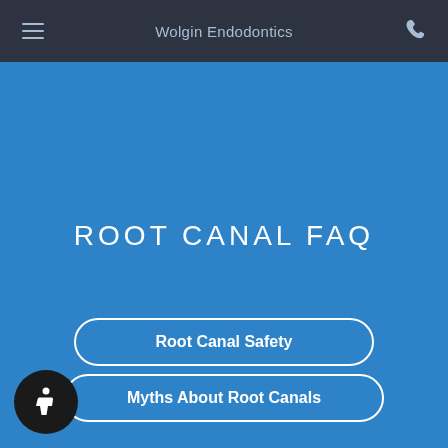Wolgin Endodontics
ROOT CANAL FAQ
Root Canal Safety
Myths About Root Canals